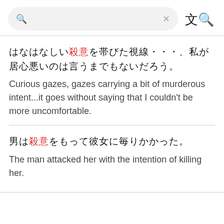[Figure (screenshot): Search bar UI with search icon, Japanese characters, clear X button, and translate icon]
□□□□□□□□□□□□□□□□□□□□□□□□□□□□□□□□□□□□□□□□□□□□□□□□□□□□□□□□□□□□□□□□□□□□□□□□□□□□□□□□□□□□□□□□□□□□□□□□□□□□□□□□□□□□□□□□□□□□□□□□□□□□□□□□□□□□□□□□□□□□□□□□□□□□□□□□□□□□□□□□□□□□□□□□□□□□□□□□□□□□□□□□□□□□□□□□□□□□□□□□□□□□□□□□□□□□□□□□□□□□□□□□□□□□□□□□□□□□□□□□□□□□□□□□□□□□□□□□□□□□□□□□□□□□□□□□
Curious gazes, gazes carrying a bit of murderous intent...it goes without saying that I couldn't be more uncomfortable.
□□□□□□□□□□□□□□□□□□□□□□□□□□□□□□□□□□□□□□□□□□□□□□□□□□□□□□□□□□□□□□□□□□□□□□□□□□□□□□□□□□□□□□□□□□□□□□□□□□□□□□□□□□□□□□□□□□□□□□□□□□□□□□□□□□□□
The man attacked her with the intention of killing her.